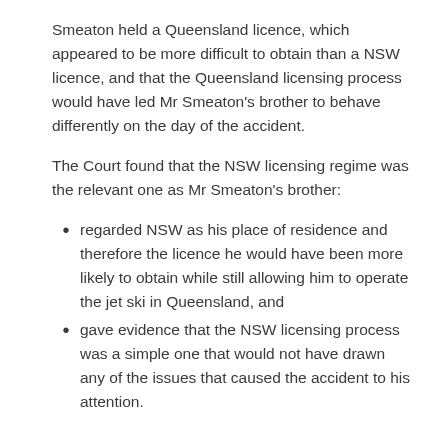Smeaton held a Queensland licence, which appeared to be more difficult to obtain than a NSW licence, and that the Queensland licensing process would have led Mr Smeaton's brother to behave differently on the day of the accident.
The Court found that the NSW licensing regime was the relevant one as Mr Smeaton's brother:
regarded NSW as his place of residence and therefore the licence he would have been more likely to obtain while still allowing him to operate the jet ski in Queensland, and
gave evidence that the NSW licensing process was a simple one that would not have drawn  any of the issues that caused the accident to his attention.